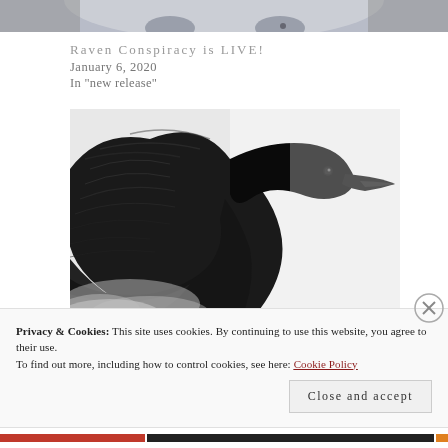[Figure (photo): Partial view of a person's face (eyes/forehead area), grayscale, at top of page]
Raven Conspiracy is LIVE!
January 6, 2020
In "new release"
[Figure (photo): Black and white photograph of a raven in flight, wings spread, viewed from below/side against a light background]
Privacy & Cookies: This site uses cookies. By continuing to use this website, you agree to their use.
To find out more, including how to control cookies, see here: Cookie Policy
Close and accept